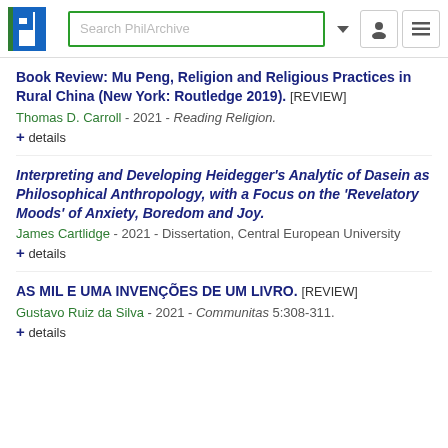Search PhilArchive
Book Review: Mu Peng, Religion and Religious Practices in Rural China (New York: Routledge 2019). [REVIEW]
Thomas D. Carroll - 2021 - Reading Religion.
+ details
Interpreting and Developing Heidegger's Analytic of Dasein as Philosophical Anthropology, with a Focus on the 'Revelatory Moods' of Anxiety, Boredom and Joy.
James Cartlidge - 2021 - Dissertation, Central European University
+ details
AS MIL E UMA INVENÇÕES DE UM LIVRO. [REVIEW]
Gustavo Ruiz da Silva - 2021 - Communitas 5:308-311.
+ details